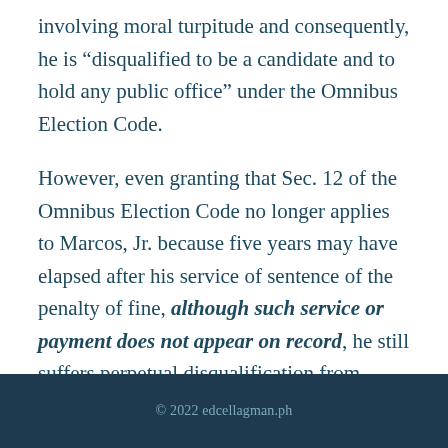involving moral turpitude and consequently, he is “disqualified to be a candidate and to hold any public office” under the Omnibus Election Code.
However, even granting that Sec. 12 of the Omnibus Election Code no longer applies to Marcos, Jr. because five years may have elapsed after his service of sentence of the penalty of fine, although such service or payment does not appear on record, he still suffers perpetual disqualification from holding any public office under Sec. 228(c) in relation to Section 228 of the 1977 NIRC, which
© 2022 edcellagman.ph